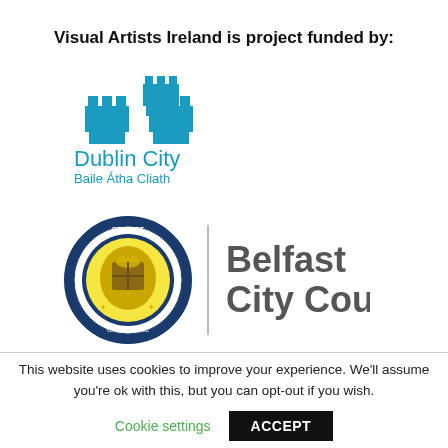Visual Artists Ireland is project funded by:
[Figure (logo): Dublin City Council logo — three blue castle/tower icons above the text 'Dublin City' in teal blue and 'Baile Átha Cliath' in smaller teal blue text]
[Figure (logo): Belfast City Council logo — circular blue-bordered crest with gold coat of arms on left, vertical grey dividing line, 'Belfast City Council' in large grey sans-serif text on right]
This website uses cookies to improve your experience. We'll assume you're ok with this, but you can opt-out if you wish.
Cookie settings   ACCEPT